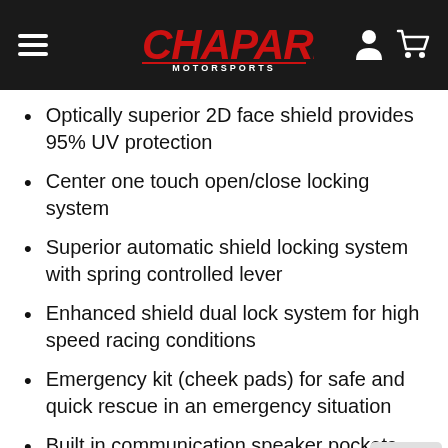Chaparral Motorsports
Optically superior 2D face shield provides 95% UV protection
Center one touch open/close locking system
Superior automatic shield locking system with spring controlled lever
Enhanced shield dual lock system for high speed racing conditions
Emergency kit (cheek pads) for safe and quick rescue in an emergency situation
Built in communication speaker pockets with removable ear pads